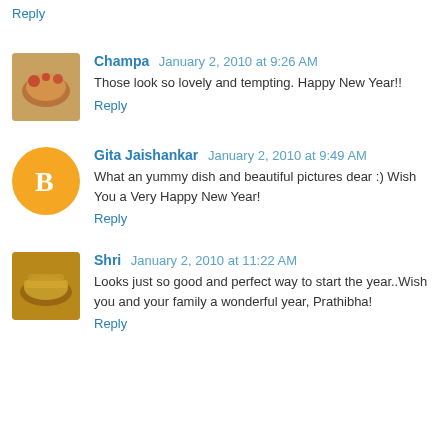Reply
Champa  January 2, 2010 at 9:26 AM
Those look so lovely and tempting. Happy New Year!!
Reply
Gita Jaishankar  January 2, 2010 at 9:49 AM
What an yummy dish and beautiful pictures dear :) Wish You a Very Happy New Year!
Reply
Shri  January 2, 2010 at 11:22 AM
Looks just so good and perfect way to start the year..Wish you and your family a wonderful year, Prathibha!
Reply